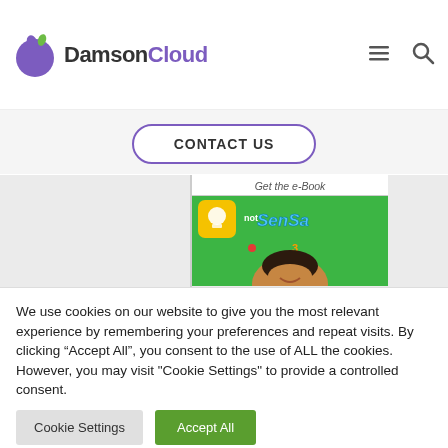[Figure (logo): DamsonCloud logo with purple circle and leaf, followed by text 'Damson' in dark and 'Cloud' in purple]
CONTACT US
Get the e-Book
[Figure (screenshot): Screenshot showing a green background card with a yellow lightbulb icon, 'not' text and 'SenSa' styled text, and the face of a smiling woman at the bottom]
We use cookies on our website to give you the most relevant experience by remembering your preferences and repeat visits. By clicking “Accept All”, you consent to the use of ALL the cookies. However, you may visit "Cookie Settings" to provide a controlled consent.
Cookie Settings
Accept All